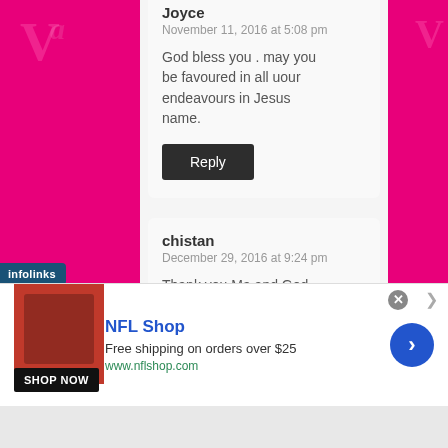Joyce
November 11, 2016 at 5:08 pm
God bless you . may you be favoured in all uour endeavours in Jesus name.
Reply
chistan
December 29, 2016 at 9:24 pm
Thank you Ma and God bless.
infolinks
NFL Shop
Free shipping on orders over $25
www.nflshop.com
SHOP NOW